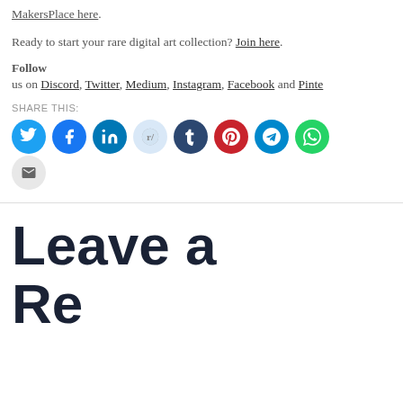If you're a digital creator, you can learn more about MakersPlace here.
Ready to start your rare digital art collection? Join here.
Follow
us on Discord, Twitter, Medium, Instagram, Facebook and Pinte…
SHARE THIS:
[Figure (infographic): Row of social media share icon circles: Twitter (blue), Facebook (blue), LinkedIn (teal), Reddit (light blue), Tumblr (dark navy), Pinterest (red), Telegram (cyan), WhatsApp (green), and Email (gray)]
Leave a Re…